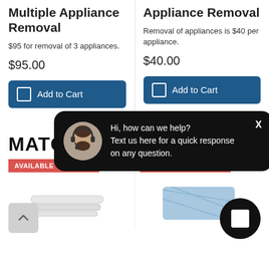Multiple Appliance Removal
$95 for removal of 3 appliances.
$95.00
Add to Cart
Appliance Removal
Removal of appliances is $40 per appliance.
$40.00
Add to Cart
MATCH
AVAILABLE TO ORDER
AVAILABLE TO ORDER
[Figure (screenshot): Chat popup with support agent avatar. Text: Hi, how can we help? Text us here for a quick response on any question. With close button X.]
[Figure (photo): Product image - plastic strips or tubes, white/clear]
[Figure (photo): Product image - blue cloth/microfiber material]